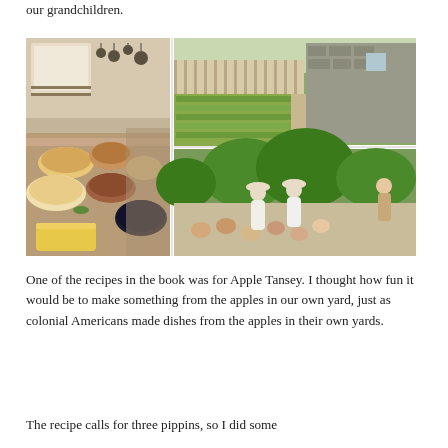our grandchildren.
[Figure (photo): Three photos: left shows a colonial kitchen with food spread on a table; top right shows a colonial garden with green plants and a stone building; bottom right shows people in colonial dress with children gathered around.]
One of the recipes in the book was for Apple Tansey. I thought how fun it would be to make something from the apples in our own yard, just as colonial Americans made dishes from the apples in their own yards.
The recipe calls for three pippins, so I did some